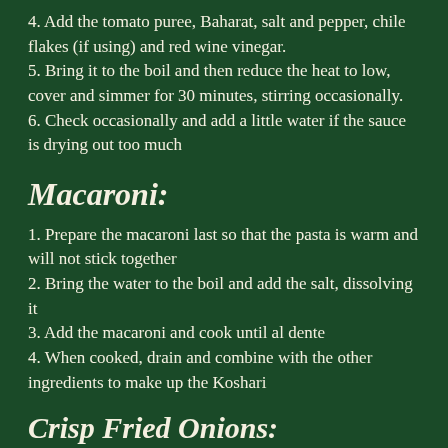4. Add the tomato puree, Baharat, salt and pepper, chile flakes (if using) and red wine vinegar.
5. Bring it to the boil and then reduce the heat to low, cover and simmer for 30 minutes, stirring occasionally.
6. Check occasionally and add a little water if the sauce is drying out too much
Macaroni:
1. Prepare the macaroni last so that the pasta is warm and will not stick together
2. Bring the water to the boil and add the salt, dissolving it
3. Add the macaroni and cook until al dente
4. When cooked, drain and combine with the other ingredients to make up the Koshari
Crisp Fried Onions: